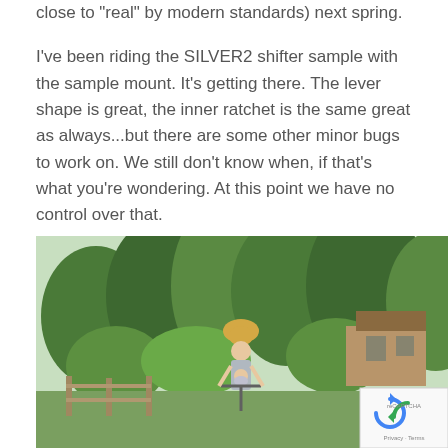close to "real" by modern standards) next spring.
I've been riding the SILVER2 shifter sample with the sample mount. It's getting there. The lever shape is great, the inner ratchet is the same great as always...but there are some other minor bugs to work on. We still don't know when, if that's what you're wondering. At this point we have no control over that.
--More bikes:
[Figure (photo): Outdoor photo showing a person wearing a yellow hat riding a bicycle with a child in a carrier seat attached to the front/handlebars area. The background shows trees, greenery, and a wooden building. A reCAPTCHA badge is visible in the bottom right corner.]